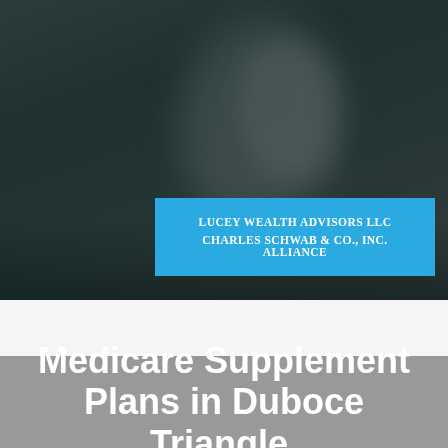[Figure (photo): Dark teal/grey background photo, likely showing a blurred person or tablet device, with a blue banner overlay reading 'LUCEY WEALTH ADVISORS LLC / CHARLES SCHWAB & CO., INC. ALLIANCE']
Medicare Supplement Plans in Duboce Triangle,